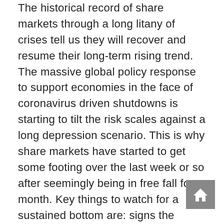The historical record of share markets through a long litany of crises tell us they will recover and resume their long-term rising trend. The massive global policy response to support economies in the face of coronavirus driven shutdowns is starting to tilt the risk scales against a long depression scenario. This is why share markets have started to get some footing over the last week or so after seemingly being in free fall for a month. Key things to watch for a sustained bottom are: signs the number of new cases is peaking – with positive signs emerging in Italy; the successful deployment of anti-virals; signs that corporate and household stress is being successfully kept to a minimum – too early to tell; signs that market liquidity is being maintained and